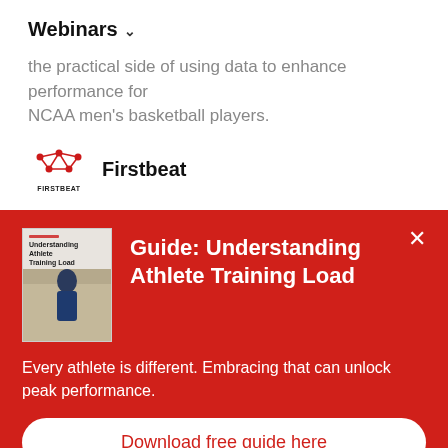Webinars ∨
the practical side of using data to enhance performance for NCAA men's basketball players.
[Figure (logo): Firstbeat logo — red network/heartbeat icon above the word FIRSTBEAT]
Firstbeat
Guide: Understanding Athlete Training Load
[Figure (photo): Book cover thumbnail showing a person with their back turned in a gym/basketball court setting, titled 'Understanding Athlete Training Load']
Every athlete is different. Embracing that can unlock peak performance.
Download free guide here